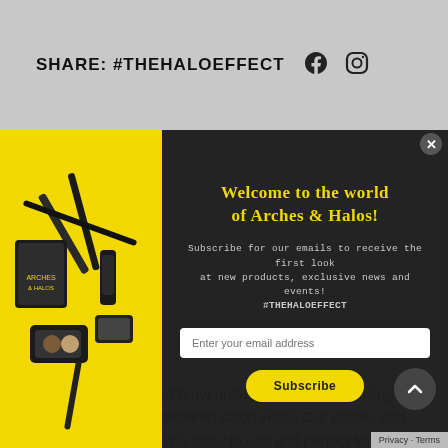SHARE: #THEHALOEFFECT
[Figure (screenshot): Modal popup overlay on a website. Left side shows beauty products on yellow background. Right side has black background with welcome text, email subscribe form and button.]
Welcome to the world of Arches & Halos!
Subscribe for our emails to receive the first look at new products, exclusive news and events! #THEHALOEFFECT
Wax away unwanted brow and lip hairs at home using this convenient kit between salon visits. Our gentle, non-irritating wax formula is easy to use and perfect for quick brow maintenance. After whisking away the unwanted hair, r